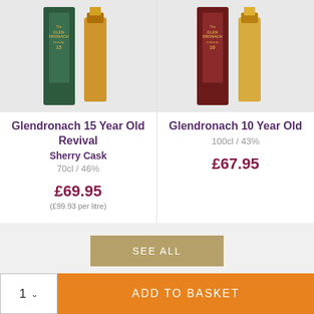[Figure (photo): Glendronach 15 Year Old Revival whisky bottle with green packaging]
Glendronach 15 Year Old Revival
Sherry Cask
70cl / 46%
£69.95
(£99.93 per litre)
[Figure (photo): Glendronach 10 Year Old whisky bottle with dark red/maroon packaging]
Glendronach 10 Year Old
100cl / 43%
£67.95
SEE ALL
CUSTOMER REVIEWS
1
ADD TO BASKET